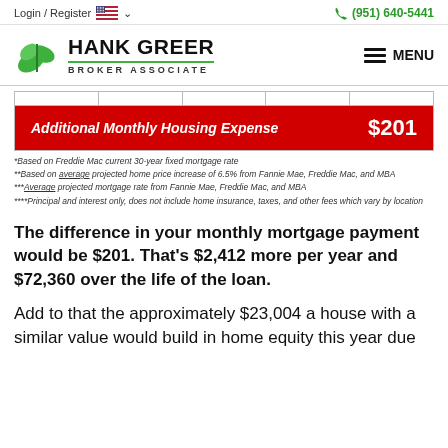Login / Register   (951) 640-5441
[Figure (logo): Hank Greer Broker Associate logo with green leaf icon]
| Additional Monthly Housing Expense | $201 |
*Based on Freddie Mac current 30-year fixed mortgage rate
**Based on average projected home price increase of 6.5% from Fannie Mae, Freddie Mac, and MBA
***Average projected mortgage rate from Fannie Mae, Freddie Mac, and MBA
****Principal and interest only, does not include home insurance, taxes, and other fees which vary by location
The difference in your monthly mortgage payment would be $201. That’s $2,412 more per year and $72,360 over the life of the loan.
Add to that the approximately $23,004 a house with a similar value would build in home equity this year due